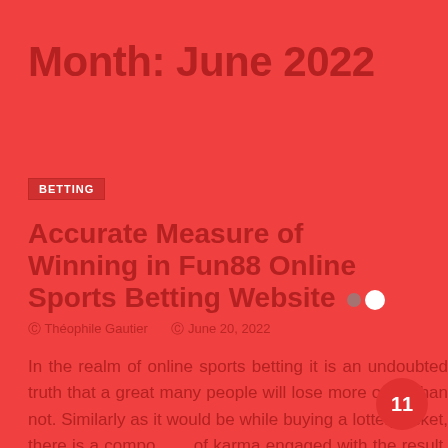Month: June 2022
BETTING
Accurate Measure of Winning in Fun88 Online Sports Betting Website
Théophile Gautier   June 20, 2022
In the realm of online sports betting it is an undoubted truth that a great many people will lose more often than not. Similarly as it would be while buying a lottery ticket, there is a component of karma engaged with the result. Similarly as someone